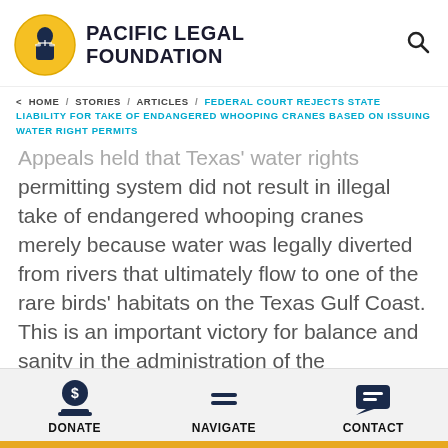[Figure (logo): Pacific Legal Foundation logo: circular yellow/gold emblem with figure holding scales of justice, next to bold uppercase text 'PACIFIC LEGAL FOUNDATION']
< HOME / STORIES / ARTICLES / FEDERAL COURT REJECTS STATE LIABILITY FOR TAKE OF ENDANGERED WHOOPING CRANES BASED ON ISSUING WATER RIGHT PERMITS
Appeals held that Texas' water rights permitting system did not result in illegal take of endangered whooping cranes merely because water was legally diverted from rivers that ultimately flow to one of the rare birds' habitats on the Texas Gulf Coast. This is an important victory for balance and sanity in the administration of the Endangered Species Act. The Fifth Circuit chided the trial
DONATE  NAVIGATE  CONTACT